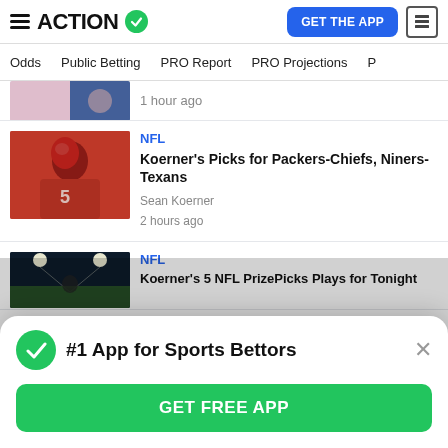ACTION (logo with checkmark) | GET THE APP
Odds | Public Betting | PRO Report | PRO Projections
1 hour ago
NFL
Koerner's Picks for Packers-Chiefs, Niners-Texans
Sean Koerner
2 hours ago
NFL
Koerner's 5 NFL PrizePicks Plays for Tonight
#1 App for Sports Bettors
GET FREE APP
New York Sports Betting Posts First $200